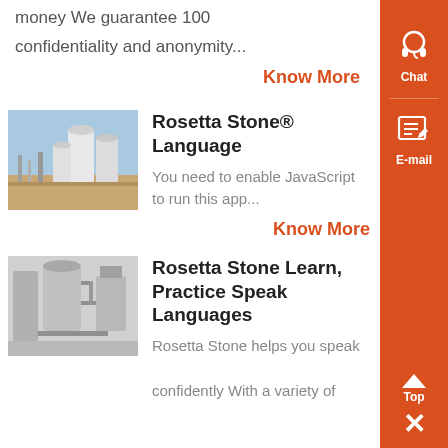money We guarantee 100 confidentiality and anonymity...
Know More
[Figure (photo): Industrial facility with white cylindrical storage silos against a blue sky]
Rosetta Stone® Language
You need to enable JavaScript to run this app...
Know More
[Figure (photo): Grayscale industrial machinery with pipes and processing equipment]
Rosetta Stone Learn, Practice Speak Languages
Rosetta Stone helps you speak confidently With a variety of